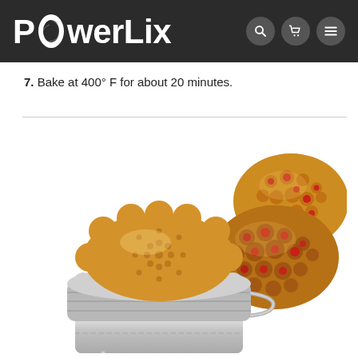PowerLix
7. Bake at 400° F for about 20 minutes.
[Figure (photo): A silver mooncake mold with a golden-baked mooncake on top, next to two baked pastries/mooncakes with golden-brown lattice tops and red filling visible, on a white background.]